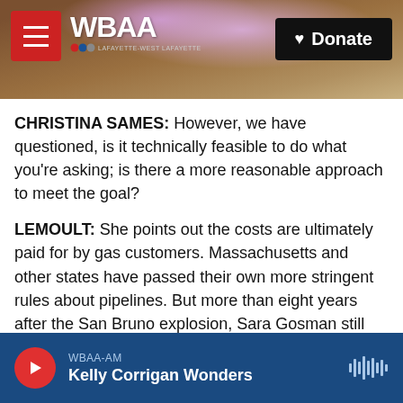[Figure (screenshot): WBAA NPR radio website header with tree/nature background photo, hamburger menu button, WBAA logo, and Donate button]
CHRISTINA SAMES: However, we have questioned, is it technically feasible to do what you're asking; is there a more reasonable approach to meet the goal?
LEMOULT: She points out the costs are ultimately paid for by gas customers. Massachusetts and other states have passed their own more stringent rules about pipelines. But more than eight years after the San Bruno explosion, Sara Gosman still doesn't expect her advisory committee to push through new federal safety regulations.
WBAA-AM — Kelly Corrigan Wonders